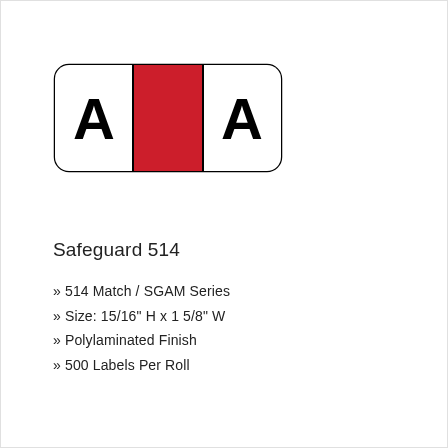[Figure (illustration): A label sticker showing two white sections each with a bold black letter A, separated by a red rectangle in the center, all within a rounded-corner rectangular border.]
Safeguard 514
» 514 Match / SGAM Series
» Size: 15/16" H x 1 5/8" W
» Polylaminated Finish
» 500 Labels Per Roll